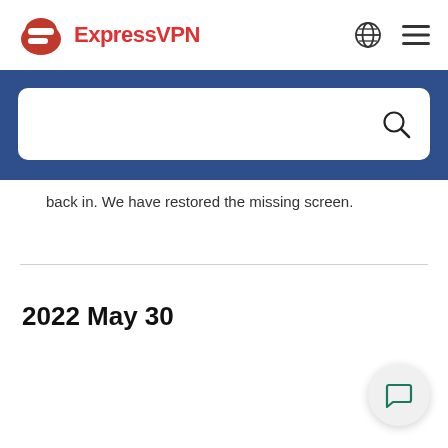ExpressVPN
[Figure (screenshot): Blue search banner with a white rounded search box containing a search icon]
back in. We have restored the missing screen.
2022 May 30